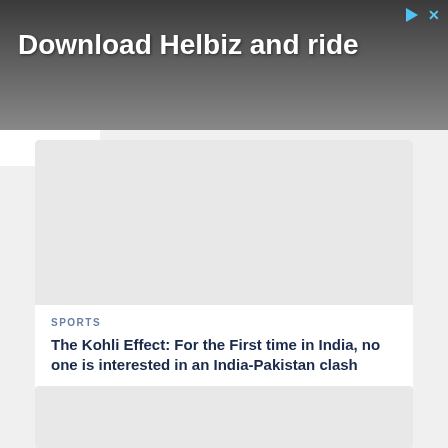[Figure (photo): Advertisement banner with dark background showing a person with camera/scooter. Text reads 'Download Helbiz and ride']
SPORTS
The Kohli Effect: For the First time in India, no one is interested in an India-Pakistan clash
BY ABHISHEK KUMAR SINGH  28 AUGUST 2022
[Figure (photo): Article image placeholder (light gray)]